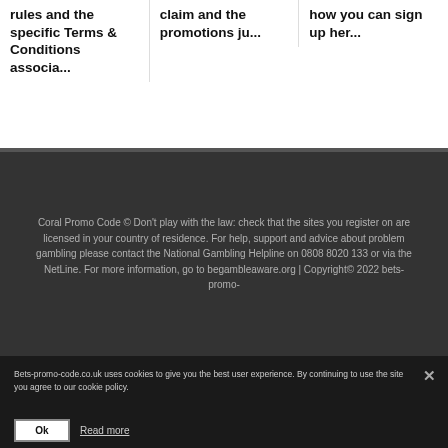rules and the specific Terms & Conditions associa...
claim  and the promotions ju...
how you can sign up her...
Coral Promo Code © Don't play with the law: check that the sites you register on are licensed in your country of residence. For help, support and advice about problem gambling please contact the National Gambling Helpline on 0808 8020 133 or via the NetLine. For more information, go to begambleaware.org | Copyright© 2022 bets-promo-
Bets-promo-code.co.uk uses cookies to give you the best user experience. By continuing to use the site you agree to our cookie policy.
Ok
Read more